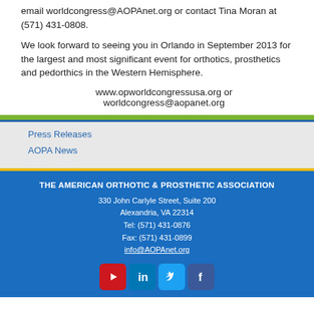email worldcongress@AOPAnet.org or contact Tina Moran at (571) 431-0808.
We look forward to seeing you in Orlando in September 2013 for the largest and most significant event for orthotics, prosthetics and pedorthics in the Western Hemisphere.
www.opworldcongressusa.org or worldcongress@aopanet.org
Press Releases
AOPA News
THE AMERICAN ORTHOTIC & PROSTHETIC ASSOCIATION
330 John Carlyle Street, Suite 200
Alexandria, VA 22314
Tel: (571) 431-0876
Fax: (571) 431-0899
info@AOPAnet.org